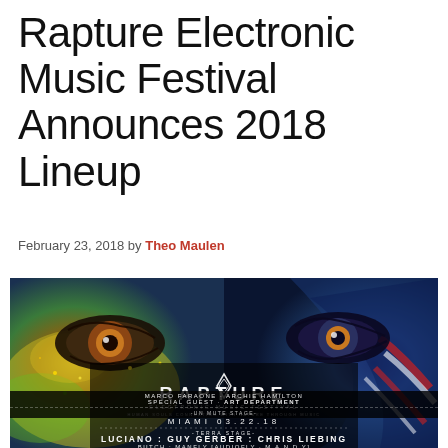Rapture Electronic Music Festival Announces 2018 Lineup
February 23, 2018 by Theo Maulen
[Figure (photo): Rapture Electronic Music Festival 2018 promotional poster showing two close-up faces with colorful body paint and glitter around the eyes. Text overlay reads: RAPTURE ELECTRONIC MUSIC FESTIVAL, HUMAN SOULS CONNECTING WITH NATURE THROUGH MUSIC, MIAMI 03.22.18. TERRA STAGE: LUCIANO : GUY GERBER : CHRIS LIEBING, BUTCH : MANFLY [AUDIOFLY · M.A.N.D.Y], MARCO FARAONE · ARCHIE HAMILTON, SPECIAL GUEST · ART DEPARTMENT. UN MUTE STAGE (partially visible at bottom).]